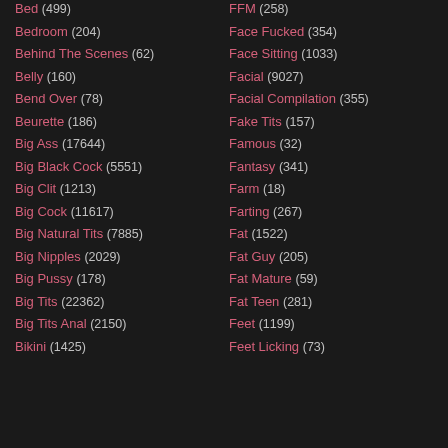Bed (499)
Bedroom (204)
Behind The Scenes (62)
Belly (160)
Bend Over (78)
Beurette (186)
Big Ass (17644)
Big Black Cock (5551)
Big Clit (1213)
Big Cock (11617)
Big Natural Tits (7885)
Big Nipples (2029)
Big Pussy (178)
Big Tits (22362)
Big Tits Anal (2150)
Bikini (1425)
FFM (258)
Face Fucked (354)
Face Sitting (1033)
Facial (9027)
Facial Compilation (355)
Fake Tits (157)
Famous (32)
Fantasy (341)
Farm (18)
Farting (267)
Fat (1522)
Fat Guy (205)
Fat Mature (59)
Fat Teen (281)
Feet (1199)
Feet Licking (73)